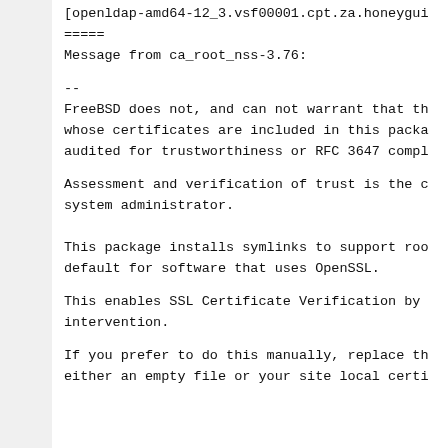[openldap-amd64-12_3.vsf00001.cpt.za.honeygui
=====
Message from ca_root_nss-3.76:

--
FreeBSD does not, and can not warrant that th
whose certificates are included in this packa
audited for trustworthiness or RFC 3647 compl

Assessment and verification of trust is the c
system administrator.


This package installs symlinks to support roo
default for software that uses OpenSSL.

This enables SSL Certificate Verification by
intervention.

If you prefer to do this manually, replace th
either an empty file or your site local certi